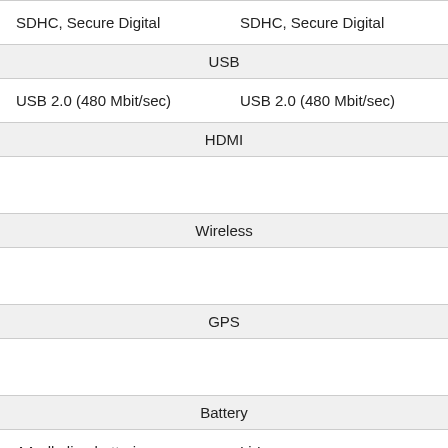|  |  |
| --- | --- |
| SDHC, Secure Digital | SDHC, Secure Digital |
| USB |  |
| USB 2.0 (480 Mbit/sec) | USB 2.0 (480 Mbit/sec) |
| HDMI |  |
|  |  |
| Wireless |  |
|  |  |
| GPS |  |
|  |  |
| Battery |  |
| AA alkaline batteries | Li-Ion |
| Weight |  |